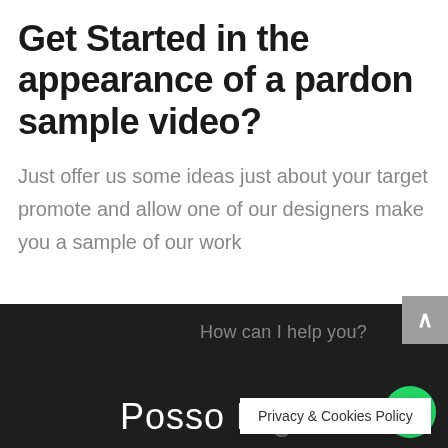Get Started in the appearance of a pardon sample video?
Just offer us some ideas just about your target promote and allow one of our designers make you a sample of our work
[Figure (screenshot): Dark footer bar with 'Posso Digital' text in white, 'How can I help you?' faint text, a WhatsApp green circle button, a grey scroll-up button, and a Privacy & Cookies Policy popup tooltip]
Privacy & Cookies Policy